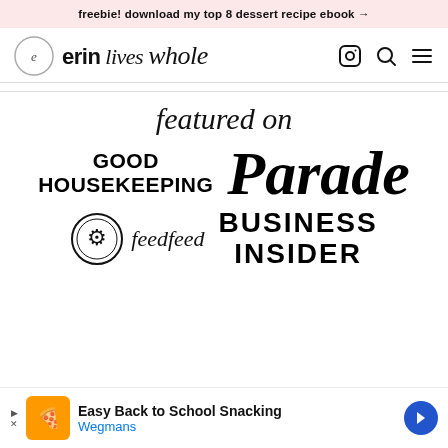freebie! download my top 8 dessert recipe ebook →
[Figure (logo): erin lives whole website logo with circular icon]
featured on
[Figure (logo): GOOD HOUSEKEEPING logo]
[Figure (logo): Parade magazine logo]
[Figure (logo): feedfeed logo with circular utensil icon]
[Figure (logo): BUSINESS INSIDER logo]
Easy Back to School Snacking Wegmans